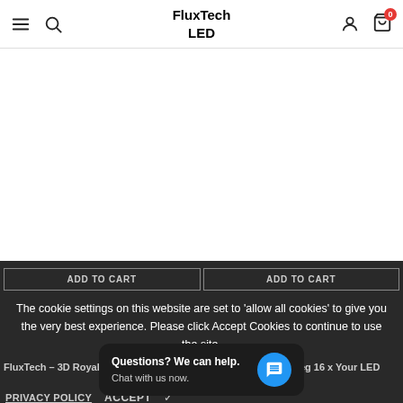FluxTech LED
[Figure (screenshot): Website header with hamburger menu, search icon, FluxTech LED logo, user icon, and cart icon with badge showing 0]
ADD TO CART   ADD TO CART
The cookie settings on this website are set to 'allow all cookies' to give you the very best experience. Please click Accept Cookies to continue to use the site.
FluxTech – 3D Royal Ice Crystal Crown...   FluxTech – Crystal Peg 16 x Your LED String...
PRIVACY POLICY   ACCEPT
Questions? We can help.
Chat with us now.